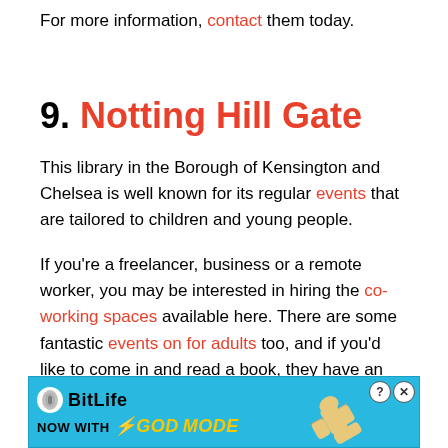For more information, contact them today.
9. Notting Hill Gate
This library in the Borough of Kensington and Chelsea is well known for its regular events that are tailored to children and young people.
If you're a freelancer, business or a remote worker, you may be interested in hiring the co-working spaces available here. There are some fantastic events on for adults too, and if you'd like to come in and read a book, they have an extensive catalogue here. You can also read eBooks, eMagazines, Audiobooks and even eCom... tablet here.
[Figure (infographic): BitLife advertisement banner with teal background, BitLife logo, 'NOW WITH GOD MODE' text in yellow, and pointing hand illustration]